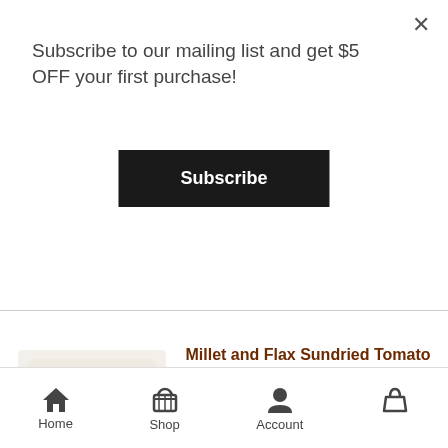Subscribe to our mailing list and get $5 OFF your first purchase!
Subscribe
[Figure (screenshot): Close (X) button in top right of popup overlay]
[Figure (photo): Product image of Millet and Flax Sundried Tomato Lavash bread, circular flatbread in plastic packaging with red label]
Millet and Flax Sundried Tomato Lavash
$5.75
| Nutrition Facts |
| 12 servings per container |
Home
Shop
Account